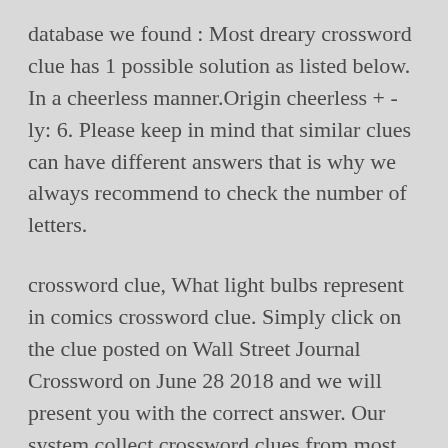database we found : Most dreary crossword clue has 1 possible solution as listed below. In a cheerless manner.Origin cheerless + -ly: 6. Please keep in mind that similar clues can have different answers that is why we always recommend to check the number of letters.
crossword clue, What light bulbs represent in comics crossword clue. Simply click on the clue posted on Wall Street Journal Crossword on June 28 2018 and we will present you with the correct answer. Our system collect crossword clues from most populer crossword, cryptic puzzle, quick/small crossword that found in Daily Mail, Daily Telegraph, Daily Express, Daily Mirror,